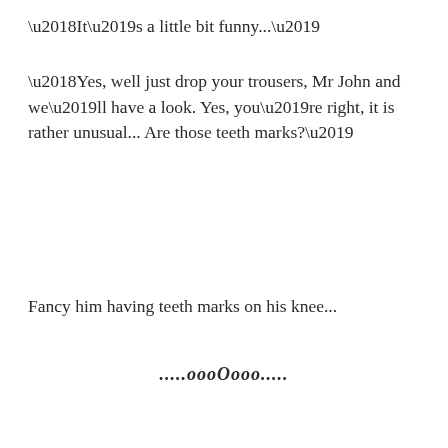‘It’s a little bit funny...’
‘Yes, well just drop your trousers, Mr John and we’ll have a look. Yes, you’re right, it is rather unusual... Are those teeth marks?’
Fancy him having teeth marks on his knee...
.....oooOooo.....